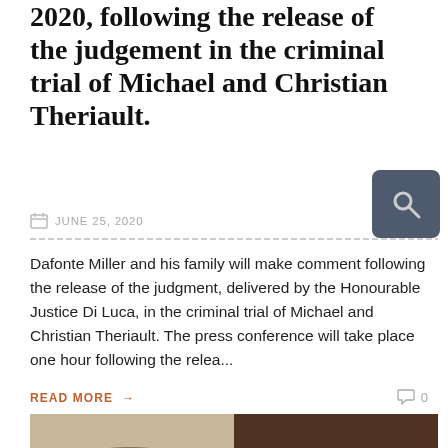2020, following the release of the judgement in the criminal trial of Michael and Christian Theriault.
JUNE 25, 2020
Dafonte Miller and his family will make comment following the release of the judgment, delivered by the Honourable Justice Di Luca, in the criminal trial of Michael and Christian Theriault. The press conference will take place one hour following the relea...
READ MORE →
[Figure (photo): Close-up photograph showing two faces/persons, partially cropped]